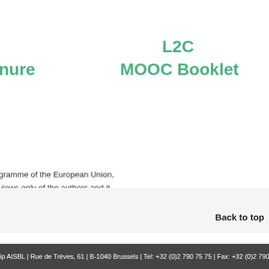L2C
MOOC Booklet
nure
gramme of the European Union, views only of the authors and it ommission is not responsible or liable.
Back to top
ip AISBL | Rue de Trèves, 61 | B-1040 Brussels | Tel: +32 (0)2 790 75 75 | Fax: +32 (0)2 790 75 85